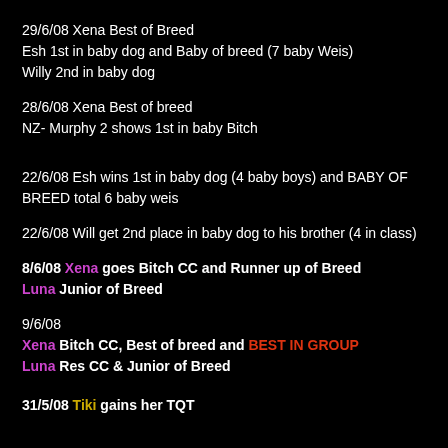29/6/08 Xena Best of Breed
Esh 1st in baby dog and Baby of breed (7 baby Weis)
Willy 2nd in baby dog
28/6/08 Xena Best of breed
NZ- Murphy 2 shows 1st in baby Bitch
22/6/08 Esh wins 1st in baby dog (4 baby boys) and BABY OF BREED total 6 baby weis
22/6/08 Will get 2nd place in baby dog to his brother (4 in class)
8/6/08 Xena goes Bitch CC and Runner up of Breed
Luna Junior of Breed
9/6/08
Xena Bitch CC, Best of breed and BEST IN GROUP
Luna Res CC & Junior of Breed
31/5/08 Tiki gains her TQT